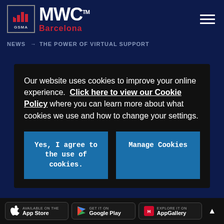[Figure (logo): MWC Barcelona GSMA logo with hamburger menu]
NEWS → THE POWER OF VIRTUAL SUPPORT
Our website uses cookies to improve your online experience. Click here to view our Cookie Policy where you can learn more about what cookies we use and how to change your settings.
Yes, I agree to the use of cookies.
Manage Cookies
Available on the App Store | Get it on Google Play | Explore it on AppGallery